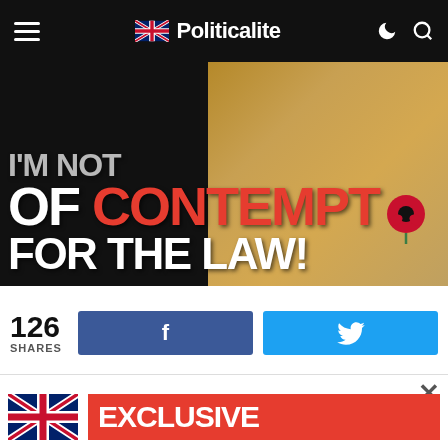Politicalite
[Figure (photo): Hero image with bold headline text overlaid on dark background with woman in camel coat wearing a poppy. Text reads: CONTEMPT OF CONTEMPT FOR THE LAW!]
126 SHARES
[Figure (infographic): Social share buttons: Facebook (blue) and Twitter (cyan bird icon)]
[Figure (infographic): UK flag with EXCLUSIVE banner in red]